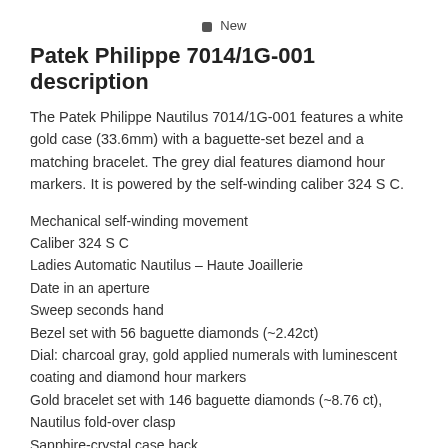■ New
Patek Philippe 7014/1G-001 description
The Patek Philippe Nautilus 7014/1G-001 features a white gold case (33.6mm) with a baguette-set bezel and a matching bracelet. The grey dial features diamond hour markers. It is powered by the self-winding caliber 324 S C.
Mechanical self-winding movement
Caliber 324 S C
Ladies Automatic Nautilus – Haute Joaillerie
Date in an aperture
Sweep seconds hand
Bezel set with 56 baguette diamonds (~2.42ct)
Dial: charcoal gray, gold applied numerals with luminescent coating and diamond hour markers
Gold bracelet set with 146 baguette diamonds (~8.76 ct), Nautilus fold-over clasp
Sapphire-crystal case back